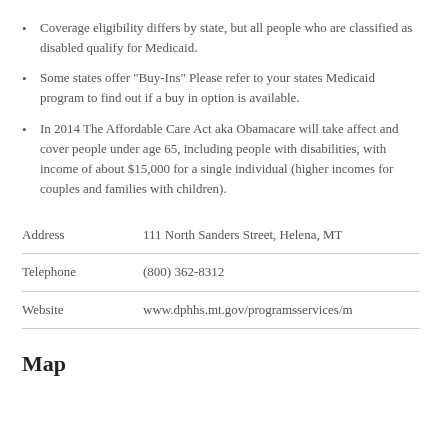Coverage eligibility differs by state, but all people who are classified as disabled qualify for Medicaid.
Some states offer "Buy-Ins" Please refer to your states Medicaid program to find out if a buy in option is available.
In 2014 The Affordable Care Act aka Obamacare will take affect and cover people under age 65, including people with disabilities, with income of about $15,000 for a single individual (higher incomes for couples and families with children).
|  |  |
| --- | --- |
| Address | 111 North Sanders Street, Helena, MT |
| Telephone | (800) 362-8312 |
| Website | www.dphhs.mt.gov/programsservices/m |
Map